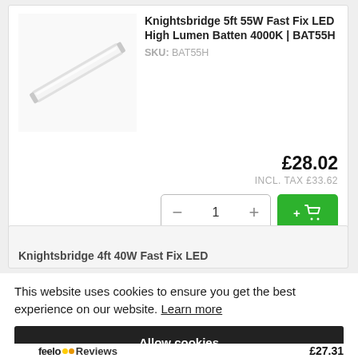[Figure (photo): Knightsbridge 5ft 55W LED High Lumen Batten light fitting, white elongated tube fixture on white background]
Knightsbridge 5ft 55W Fast Fix LED High Lumen Batten 4000K | BAT55H
SKU: BAT55H
£28.02
INCL. TAX £33.62
[Figure (screenshot): Quantity selector showing minus button, 1, plus button and green Add to Cart button with cart icon]
Knightsbridge 4ft 40W Fast Fix LED
This website uses cookies to ensure you get the best experience on our website. Learn more
Allow cookies
feefo Reviews
£27.31